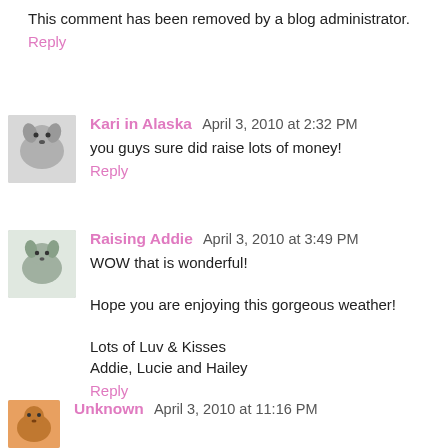This comment has been removed by a blog administrator.
Reply
[Figure (photo): Avatar image of a dog for Kari in Alaska]
Kari in Alaska April 3, 2010 at 2:32 PM
you guys sure did raise lots of money!
Reply
[Figure (photo): Avatar image of a dog for Raising Addie]
Raising Addie April 3, 2010 at 3:49 PM
WOW that is wonderful!

Hope you are enjoying this gorgeous weather!

Lots of Luv & Kisses
Addie, Lucie and Hailey
Reply
[Figure (photo): Avatar image for Unknown commenter]
Unknown April 3, 2010 at 11:16 PM